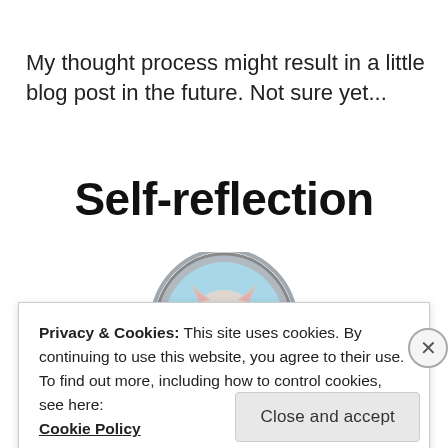My thought process might result in a little blog post in the future. Not sure yet...
Self-reflection
[Figure (illustration): A cartoon cat looking at its reflection in a mirror, circular avatar illustration with light blue background]
Privacy & Cookies: This site uses cookies. By continuing to use this website, you agree to their use.
To find out more, including how to control cookies, see here:
Cookie Policy
Close and accept